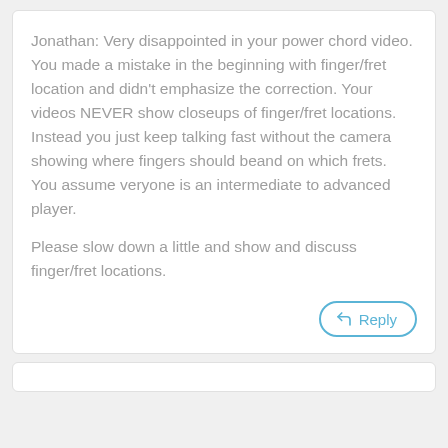Jonathan: Very disappointed in your power chord video. You made a mistake in the beginning with finger/fret location and didn't emphasize the correction. Your videos NEVER show closeups of finger/fret locations. Instead you just keep talking fast without the camera showing where fingers should beand on which frets.
You assume veryone is an intermediate to advanced player.

Please slow down a little and show and discuss finger/fret locations.